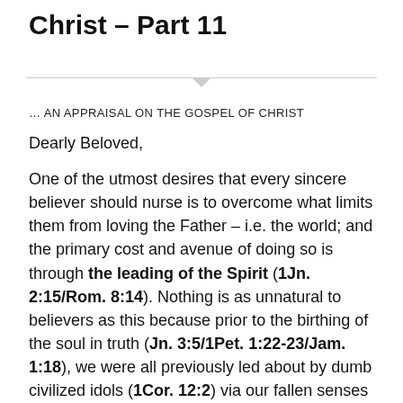Christ – Part 11
… AN APPRAISAL ON THE GOSPEL OF CHRIST
Dearly Beloved,
One of the utmost desires that every sincere believer should nurse is to overcome what limits them from loving the Father – i.e. the world; and the primary cost and avenue of doing so is through the leading of the Spirit (1Jn. 2:15/Rom. 8:14). Nothing is as unnatural to believers as this because prior to the birthing of the soul in truth (Jn. 3:5/1Pet. 1:22-23/Jam. 1:18), we were all previously led about by dumb civilized idols (1Cor. 12:2) via our fallen senses — and we didn't lack proofs